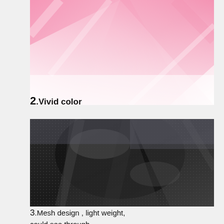[Figure (photo): Close-up of pink/white sheer fabric tulle showing vivid pink color with translucent layers]
2.Vivid color
[Figure (photo): Close-up of black mesh/sheer fabric showing texture and see-through quality]
3.Mesh design , light weight, could see through